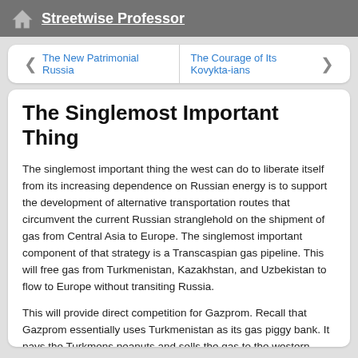Streetwise Professor
The New Patrimonial Russia
The Courage of Its Kovykta-ians
The Singlemost Important Thing
The singlemost important thing the west can do to liberate itself from its increasing dependence on Russian energy is to support the development of alternative transportation routes that circumvent the current Russian stranglehold on the shipment of gas from Central Asia to Europe. The singlemost important component of that strategy is a Transcaspian gas pipeline. This will free gas from Turkmenistan, Kazakhstan, and Uzbekistan to flow to Europe without transiting Russia.
This will provide direct competition for Gazprom. Recall that Gazprom essentially uses Turkmenistan as its gas piggy bank. It pays the Turkmens peanuts and sells the gas to the western Europeans at far higher prices. Gazprom (and the Russian state) pocket the difference. Moreover, access to Central Asian gas makes it easier for Gazprom to meet its contractual commitments without making additional investments in new reserves in Russia. It is now widely recognized that Russia’s domestic production is stagnating, and with growing domestic demand it would have difficulty meeting its commitments unless it could exploit Central Asian reserves at